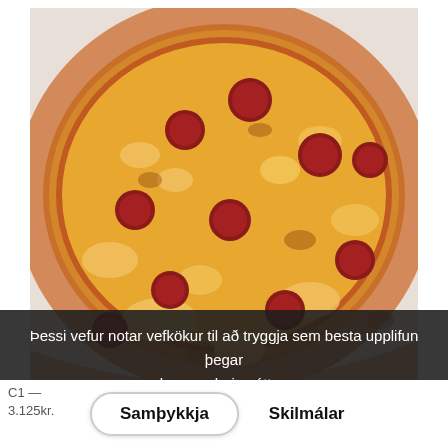[Figure (photo): Close-up photo of a pizza with melted cheese, pepperoni slices, and golden-brown crust filling most of the frame]
Þessi vefur notar vefkökur til að tryggja sem besta upplifun þegar hann er heimsóttur.
Samþykkja   Skilmálar
C1 —
3.125kr.